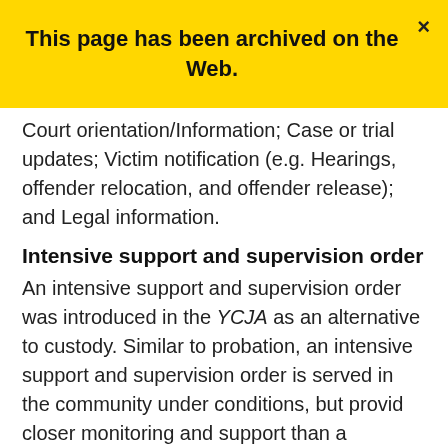This page has been archived on the Web.
Court orientation/Information; Case or trial updates; Victim notification (e.g. Hearings, offender relocation, and offender release); and Legal information.
Intensive support and supervision order
An intensive support and supervision order was introduced in the YCJA as an alternative to custody. Similar to probation, an intensive support and supervision order is served in the community under conditions, but provides closer monitoring and support than a probation